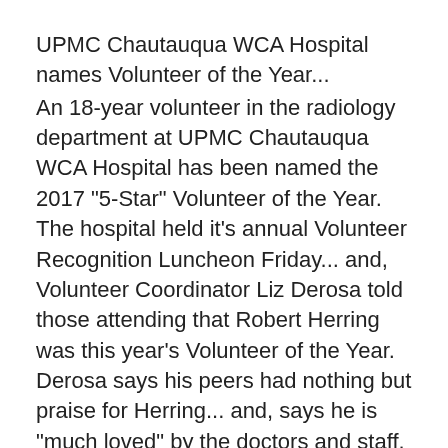UPMC Chautauqua WCA Hospital names Volunteer of the Year...
An 18-year volunteer in the radiology department at UPMC Chautauqua WCA Hospital has been named the 2017 "5-Star" Volunteer of the Year.  The hospital held it's annual Volunteer Recognition Luncheon Friday... and, Volunteer Coordinator Liz Derosa told those attending that Robert Herring was this year's Volunteer of the Year.  Derosa says his peers had nothing but praise for Herring... and, says he is "much loved" by the doctors and staff.  Derosa and hospital administrators also honored 103 other volunteers who reached special milestones in 2017.  The most hours put in by a volunteer the past year was Robert Gray with 781.  Gray also reached the 12,000 hour milestone.  Derosa says the help they get from volunteers is immeasurable.  If you would like to be a volunteer at UPMC Chautauqua WCA Hospital... Derosa says just google their new website on